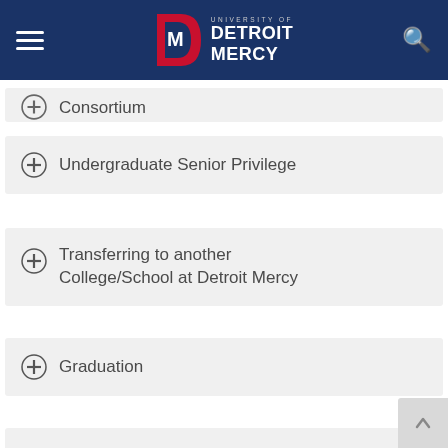University of Detroit Mercy
Consortium
Undergraduate Senior Privilege
Transferring to another College/School at Detroit Mercy
Graduation
Accreditations and Memberships